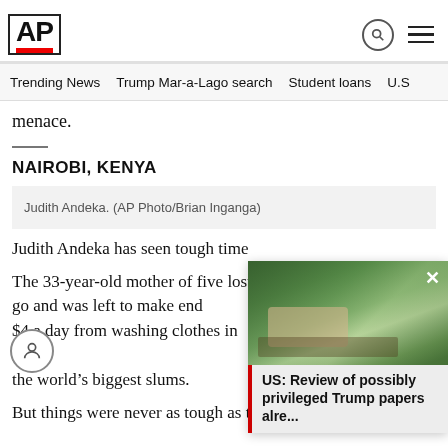AP
Trending News  Trump Mar-a-Lago search  Student loans  U.S
menace.
NAIROBI, KENYA
Judith Andeka. (AP Photo/Brian Inganga)
Judith Andeka has seen tough time
The 33-year-old mother of five lost go and was left to make end $4 a day from washing clothes in N the world’s biggest slums.
But things were never as tough as t
[Figure (photo): Aerial photo of Mar-a-Lago estate with palm trees and gardens]
US: Review of possibly privileged Trump papers alre...